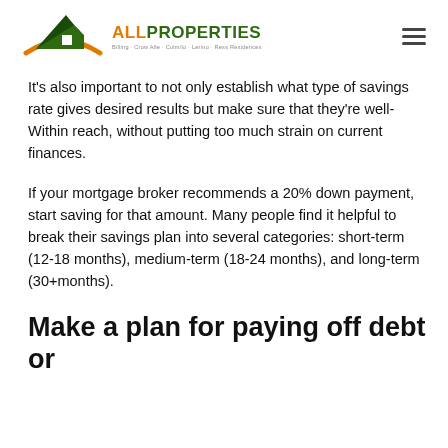[Figure (logo): AllProperties logo with green house/roof icon and orange swoosh, company name with 'ALL' in orange and 'PROPERTIES' in dark green, tagline text below]
It's also important to not only establish what type of savings rate gives desired results but make sure that they're well-Within reach, without putting too much strain on current finances.
If your mortgage broker recommends a 20% down payment, start saving for that amount. Many people find it helpful to break their savings plan into several categories: short-term (12-18 months), medium-term (18-24 months), and long-term (30+months).
Make a plan for paying off debt or